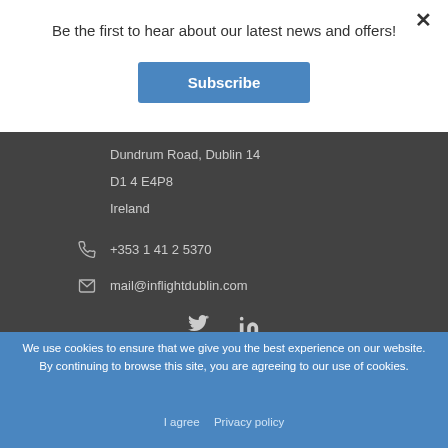Be the first to hear about our latest news and offers!
Subscribe
Dundrum Road, Dublin 14
D1 4 E4P8
Ireland
+353 1 41 2 5370
mail@inflightdublin.com
[Figure (other): Twitter and LinkedIn social media icons]
We use cookies to ensure that we give you the best experience on our website. By continuing to browse this site, you are agreeing to our use of cookies.
I agree   Privacy policy